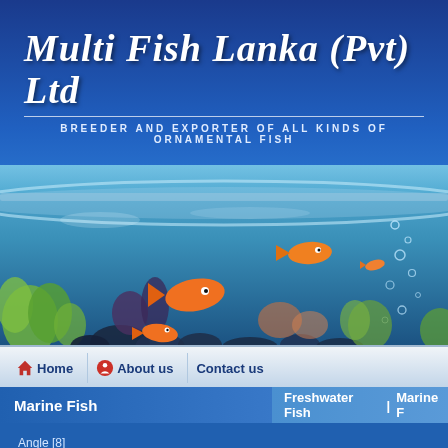Multi Fish Lanka (Pvt) Ltd
BREEDER AND EXPORTER OF ALL KINDS OF ORNAMENTAL FISH
[Figure (photo): Underwater aquarium photo showing orange tropical fish swimming among corals and green aquatic plants]
Home  About us  Contact us
Marine Fish
Freshwater Fish  Marine F
Angle [8]